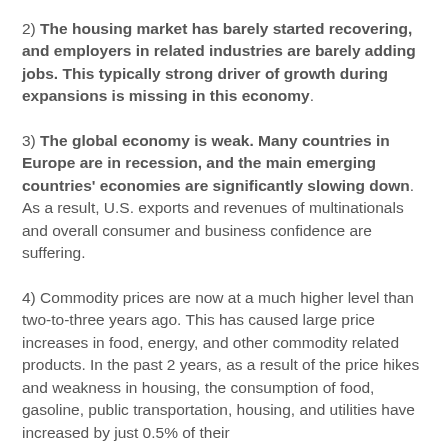2) The housing market has barely started recovering, and employers in related industries are barely adding jobs. This typically strong driver of growth during expansions is missing in this economy.
3) The global economy is weak. Many countries in Europe are in recession, and the main emerging countries' economies are significantly slowing down. As a result, U.S. exports and revenues of multinationals and overall consumer and business confidence are suffering.
4) Commodity prices are now at a much higher level than two-to-three years ago. This has caused large price increases in food, energy, and other commodity related products. In the past 2 years, as a result of the price hikes and weakness in housing, the consumption of food, gasoline, public transportation, housing, and utilities have increased by just 0.5% of their